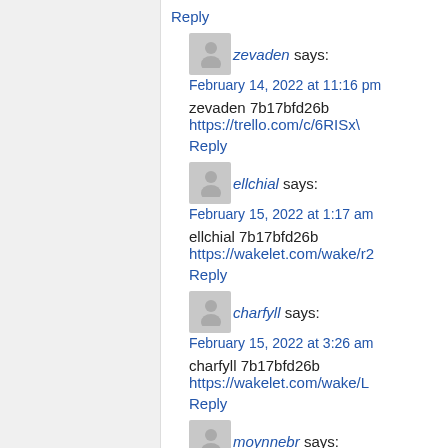Reply
zevaden says: February 14, 2022 at 11:16 pm
zevaden 7b17bfd26b https://trello.com/c/6RISxV...
Reply
ellchial says: February 15, 2022 at 1:17 am
ellchial 7b17bfd26b https://wakelet.com/wake/r2...
Reply
charfyll says: February 15, 2022 at 3:26 am
charfyll 7b17bfd26b https://wakelet.com/wake/L...
Reply
moynnebr says: February 15, 2022 at 5:30 am